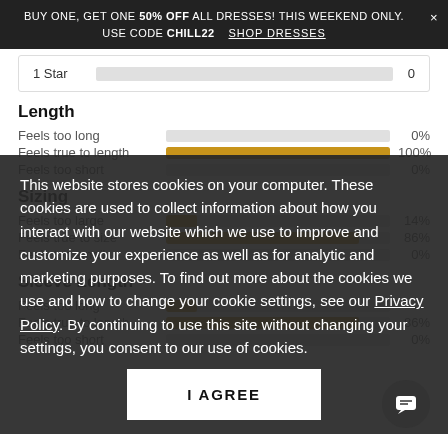BUY ONE, GET ONE 50% OFF ALL DRESSES! THIS WEEKEND ONLY. × USE CODE CHILL22   SHOP DRESSES
| Rating | Bar | Count |
| --- | --- | --- |
| 1 Star |  | 0 |
Length
[Figure (bar-chart): Length]
Sizing
[Figure (bar-chart): Sizing]
Sleeve Length
[Figure (bar-chart): Sleeve Length]
This website stores cookies on your computer. These cookies are used to collect information about how you interact with our website which we use to improve and customize your experience as well as for analytic and marketing purposes. To find out more about the cookies we use and how to change your cookie settings, see our Privacy Policy. By continuing to use this site without changing your settings, you consent to our use of cookies.
I AGREE